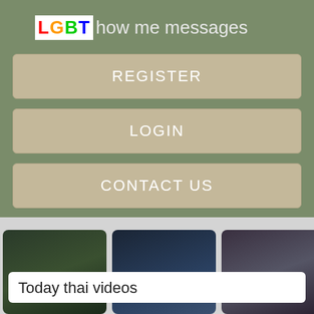LGBT how me messages
REGISTER
LOGIN
CONTACT US
[Figure (photo): Three thumbnail images side by side, each showing a person or scene with overlaid text 'Register NOW for Instant Access']
Today thai videos